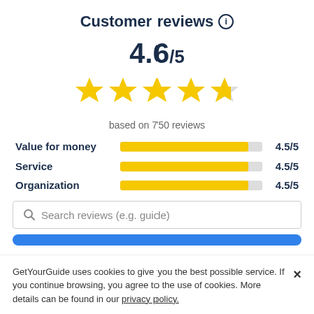Customer reviews
4.6/5
[Figure (other): 4.6 out of 5 stars rating — four full yellow stars and one partial yellow star]
based on 750 reviews
Value for money  4.5/5
Service  4.5/5
Organization  4.5/5
Search reviews (e.g. guide)
GetYourGuide uses cookies to give you the best possible service. If you continue browsing, you agree to the use of cookies. More details can be found in our privacy policy.